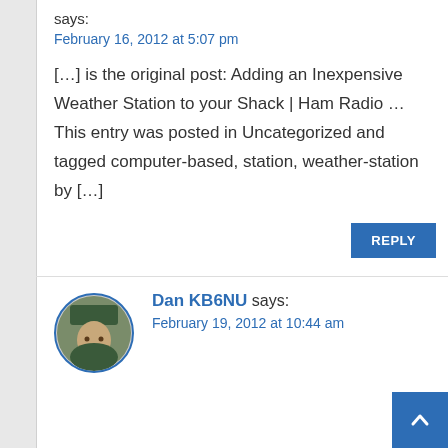says:
February 16, 2012 at 5:07 pm
[…] is the original post: Adding an Inexpensive Weather Station to your Shack | Ham Radio … This entry was posted in Uncategorized and tagged computer-based, station, weather-station by […]
REPLY
Dan KB6NU says:
February 19, 2012 at 10:44 am